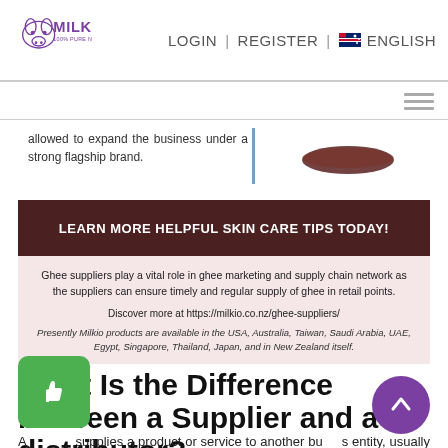MILKIO 100% PURE NEW ZEALAND | LOGIN | REGISTER | ENGLISH
allowed to expand the business under a strong flagship brand.
LEARN MORE HELPFUL SKIN CARE TIPS TODAY!
Ghee suppliers play a vital role in ghee marketing and supply chain network as the suppliers can ensure timely and regular supply of ghee in retail points.

Discover more at https://milkio.co.nz/ghee-suppliers/

Presently Milkio products are available in the USA, Australia, Taiwan, Saudi Arabia, UAE, Egypt, Singapore, Thailand, Japan, and in New Zealand itself.
What Is the Difference between a Supplier and a distributor?
A supplier supplies a product or service to another business entity, usually to a distributor who can further sell it to a wholesaler, or retailer. Suppliers can also be the